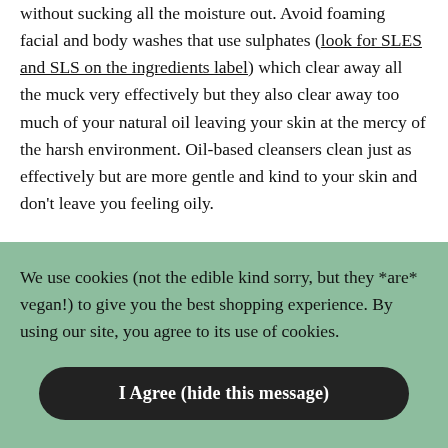without sucking all the moisture out. Avoid foaming facial and body washes that use sulphates (look for SLES and SLS on the ingredients label) which clear away all the muck very effectively but they also clear away too much of your natural oil leaving your skin at the mercy of the harsh environment. Oil-based cleansers clean just as effectively but are more gentle and kind to your skin and don't leave you feeling oily.
For your face we can't go past our Cloud 9 Deep Cleansing Balm.
Your hands need to be kept clean for good hygiene but
We use cookies (not the edible kind sorry, but they *are* vegan!) to give you the best shopping experience. By using our site, you agree to its use of cookies.